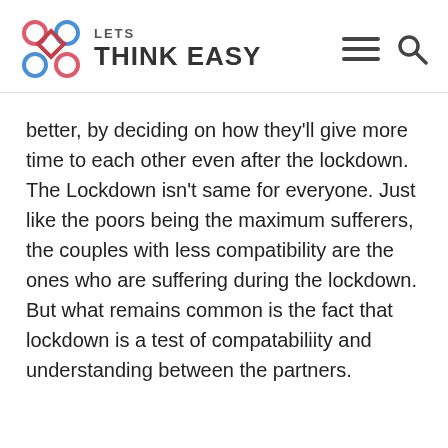LETS THINK EASY
better, by deciding on how they'll give more time to each other even after the lockdown. The Lockdown isn't same for everyone. Just like the poors being the maximum sufferers, the couples with less compatibility are the ones who are suffering during the lockdown. But what remains common is the fact that lockdown is a test of compatabiliity and understanding between the partners.